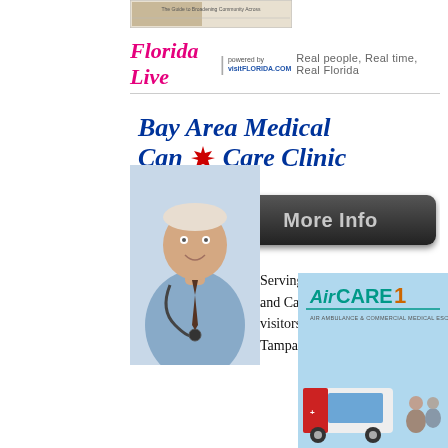[Figure (other): Top banner image with text 'The Guide to Broadening Community Across']
[Figure (logo): Florida Live logo with tagline: 'powered by visitFLORIDA.COM  Real people, Real time, Real Florida']
[Figure (illustration): Bay Area Medical Can Care Clinic advertisement with doctor photo, More Info button, and text: 'Serving Floridians and Canadian visitors throughout Tampa Bay.']
[Figure (photo): AirCare1 Air Ambulance & Commercial Medical Escort Services advertisement with ambulance vehicle photo]